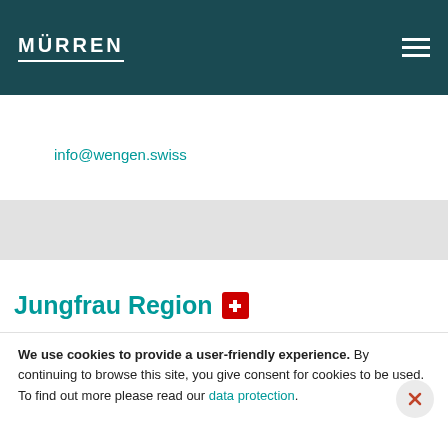MÜRREN
info@wengen.swiss
[Figure (infographic): Facebook share button (red) labeled Teilen and Twitter tweet button (red) labeled Tweeten]
Jungfrau Region
We use cookies to provide a user-friendly experience. By continuing to browse this site, you give consent for cookies to be used. To find out more please read our data protection.